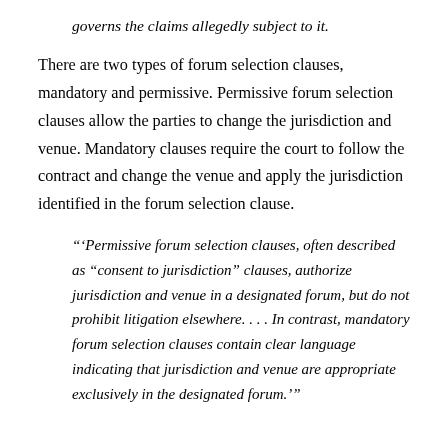governs the claims allegedly subject to it.
There are two types of forum selection clauses, mandatory and permissive. Permissive forum selection clauses allow the parties to change the jurisdiction and venue. Mandatory clauses require the court to follow the contract and change the venue and apply the jurisdiction identified in the forum selection clause.
“‘Permissive forum selection clauses, often described as “consent to jurisdiction” clauses, authorize jurisdiction and venue in a designated forum, but do not prohibit litigation elsewhere. . . . In contrast, mandatory forum selection clauses contain clear language indicating that jurisdiction and venue are appropriate exclusively in the designated forum.’”